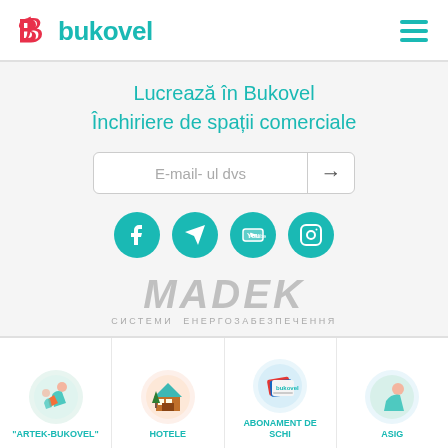[Figure (logo): Bukovel logo with red B icon and teal 'bukovel' text, plus hamburger menu icon]
Lucrează în Bukovel
Închiriere de spații comerciale
[Figure (other): Email input field with placeholder 'E-mail- ul dvs' and arrow button]
[Figure (other): Social media icons: Facebook, Telegram, YouTube, Instagram in teal circles]
[Figure (logo): MADEK logo with italic text and subtitle СИСТЕМИ ЕНЕРГОЗАБЕЗПЕЧЕННЯ]
[Figure (illustration): ARTEK-BUKOVEL tile with sports illustration icon]
[Figure (illustration): HOTELE tile with hotel/chalet illustration icon]
[Figure (illustration): ABONAMENT DE SCHI tile with ski pass illustration icon]
[Figure (illustration): ASIG... tile with partial illustration icon]